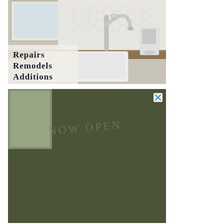[Figure (photo): Advertisement showing a kitchen sink with hexagonal tile backsplash, stainless steel faucet, white undermount sink, and overlay text reading 'Repairs Remodels Additions']
[Figure (photo): Advertisement with dark olive green textured background and a lighter square section on the left, with faint text 'NOW OPEN' and a close (X) button in the top right corner]